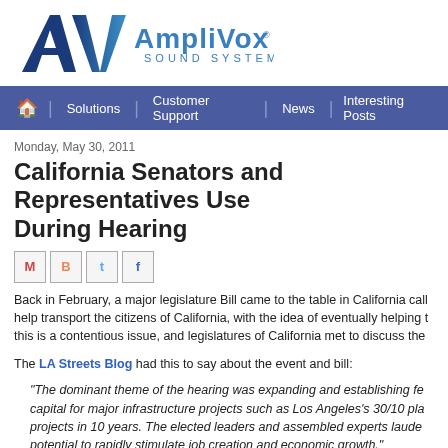[Figure (logo): AmpliVox Sound Systems logo with AV monogram in dark blue/teal gradient and company name in blue]
Solutions | Customer Support | News | Interesting Posts
Monday, May 30, 2011
California Senators and Representatives Use During Hearing
[Figure (other): Social share icons: Gmail M, Blogger B, Twitter bird, Facebook F]
Back in February, a major legislature Bill came to the table in California call help transport the citizens of California, with the idea of eventually helping t this is a contentious issue, and legislatures of California met to discuss the
The LA Streets Blog had this to say about the event and bill:
"The dominant theme of the hearing was expanding and establishing fe capital for major infrastructure projects such as Los Angeles's 30/10 pla projects in 10 years. The elected leaders and assembled experts laude potential to rapidly stimulate job creation and economic growth."
The Federal Transportation Bill is the name of the bill, dealing with m